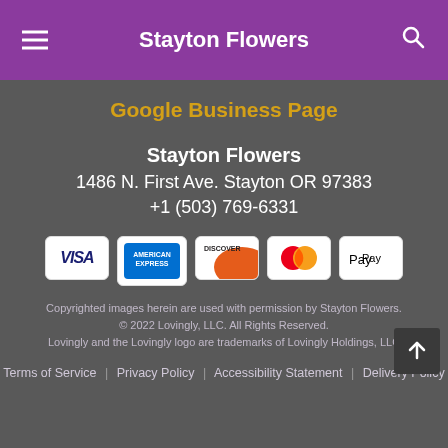Stayton Flowers
Google Business Page
Stayton Flowers
1486 N. First Ave. Stayton OR 97383
+1 (503) 769-6331
[Figure (infographic): Five payment method icons: VISA, American Express, Discover, Mastercard, Apple Pay]
Copyrighted images herein are used with permission by Stayton Flowers.
© 2022 Lovingly, LLC. All Rights Reserved.
Lovingly and the Lovingly logo are trademarks of Lovingly Holdings, LLC
Terms of Service | Privacy Policy | Accessibility Statement | Delivery Policy